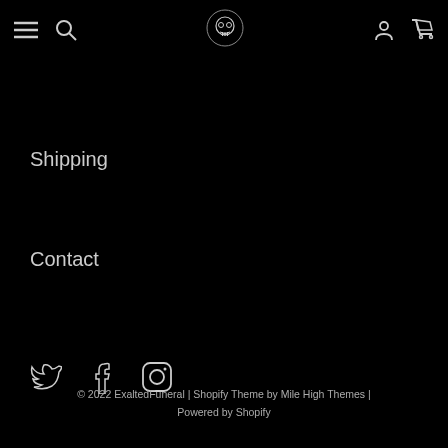[Figure (screenshot): Navigation header bar with hamburger menu, search icon, skull logo, user account icon, and shopping cart icon on black background]
Shipping
Contact
[Figure (illustration): Social media icons: Twitter bird, Facebook f, Instagram camera]
© 2022 ExaltedFuneral | Shopify Theme by Mile High Themes | Powered by Shopify